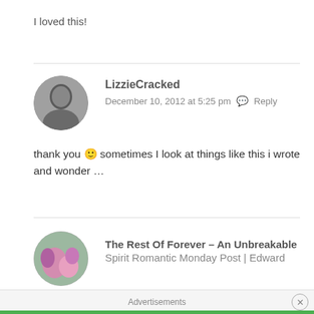I loved this!
LizzieCracked
December 10, 2012 at 5:25 pm   Reply
[Figure (photo): Black and white circular avatar photo of a woman]
thank you 🙂 sometimes I look at things like this i wrote and wonder …
[Figure (photo): Circular avatar photo with pink and purple flowers]
The Rest Of Forever – An Unbreakable
Spirit Romantic Monday Post | Edward
Advertisements